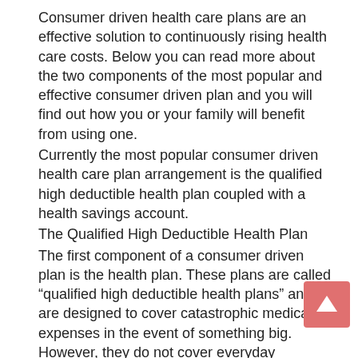Consumer driven health care plans are an effective solution to continuously rising health care costs. Below you can read more about the two components of the most popular and effective consumer driven plan and you will find out how you or your family will benefit from using one.
Currently the most popular consumer driven health care plan arrangement is the qualified high deductible health plan coupled with a health savings account.
The Qualified High Deductible Health Plan
The first component of a consumer driven plan is the health plan. These plans are called “qualified high deductible health plans” and are designed to cover catastrophic medical expenses in the event of something big. However, they do not cover everyday expenses like office visits or prescriptions. As the insured it is your responsibility to cover the everyday stuff. The great part about these plans is that they are very, very affordable. Most people can save hundreds and more often than not, thousands of dollars per year in health insurance premiums.
The Health Savings Account